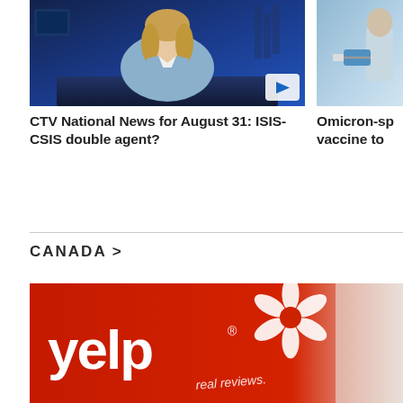[Figure (photo): CTV News anchor woman with blonde hair wearing a light blue blazer seated at news desk with blue studio background, with a play button overlay in bottom right corner]
[Figure (photo): Partially visible image of a person receiving a vaccine injection, cropped on the right side]
CTV National News for August 31: ISIS-CSIS double agent?
Omicron-specific vaccine to
CANADA >
[Figure (photo): Close-up photo of a red Yelp sign/logo with the text 'yelp' and a stylized flower/burst logo, with text 'real reviews.' partially visible]